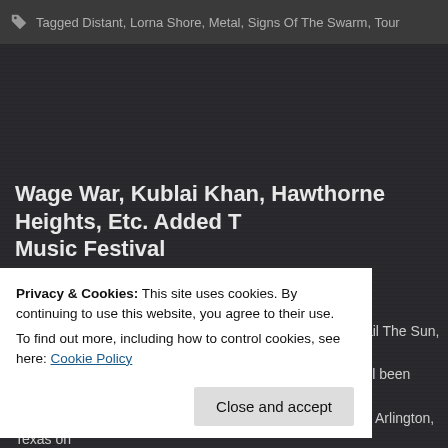Tagged Distant, Lorna Shore, Metal, Signs Of The Swarm, Tour
Wage War, Kublai Khan, Hawthorne Heights, Etc. Added T Music Festival
Posted by caemanamelio on February 15, 2022
Wage War, Lil Skies, Mod Sun, Pouya, State Champs, Hail The Sun, Rebec Hawthorne Heights, Big K.R.I.T., and Oxymorrons have all been added to the Festival. That event will take place at Choctaw Stadium in Arlington, Texas on updated daily lineups can be seen in the below poster:
[Figure (photo): Festival poster for SoWhat Texas music festival presented by Third String Entertainment, with colorful neon laser design on dark background.]
Privacy & Cookies: This site uses cookies. By continuing to use this website, you agree to their use.
To find out more, including how to control cookies, see here: Cookie Policy
Close and accept